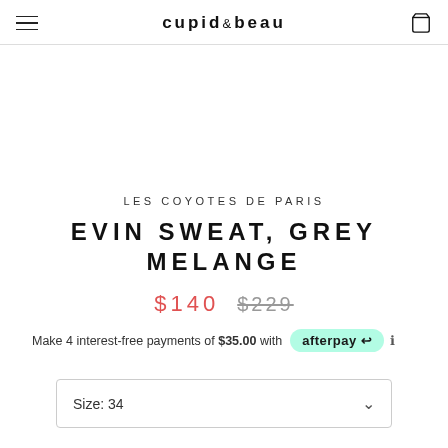cupid & beau
LES COYOTES DE PARIS
EVIN SWEAT, GREY MELANGE
$140  $229
Make 4 interest-free payments of $35.00 with afterpay
Size: 34